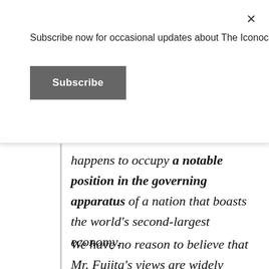Subscribe now for occasional updates about The Iconoclast!
Subscribe
happens to occupy a notable position in the governing apparatus of a nation that boasts the world's second-largest economy.
We have no reason to believe that Mr. Fujita's views are widely shared in Japan; we suspect that they are not and that many Japanese would be embarrassed by them. His proposal two years ago that Tokyo undertake an independent investigation into the